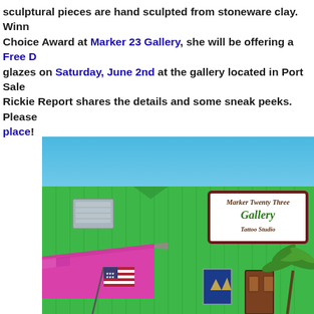sculptural pieces are hand sculpted from stoneware clay.  Winner of the People's Choice Award at Marker 23 Gallery, she will be offering a Free Demo on clay and glazes on Saturday, June 2nd at the gallery located in Port Salerno. The Rickie Report shares the details and some sneak peeks.  Please scroll down to that place!
[Figure (photo): Exterior photo of Marker Twenty Three Gallery - a bright green metal building with a sign reading 'Marker Twenty Three Gallery Tattoo Studio', a pink awning, an American flag, palm trees, and a brown door entrance under a clear blue sky.]